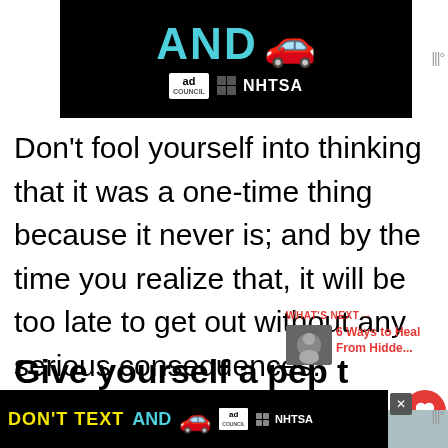[Figure (screenshot): NHTSA / Ad Council 'DON'T TEXT AND DRIVE' advertisement banner with teal AND text and red car emoji on black background]
Don't fool yourself into thinking that it was a one-time thing because it never is; and by the time you realize that, it will be too late to get out without any serious consequences.
[Figure (screenshot): What's Next panel showing thumbnail and title '6 Ways to Heal From Hidde...' with a heart like button showing 249 likes and share button]
Give yourself a pep t
[Figure (screenshot): Bottom NHTSA Ad Council 'DON'T TEXT AND' advertisement banner on black background with yellow and teal text and red car emoji, with close X button]